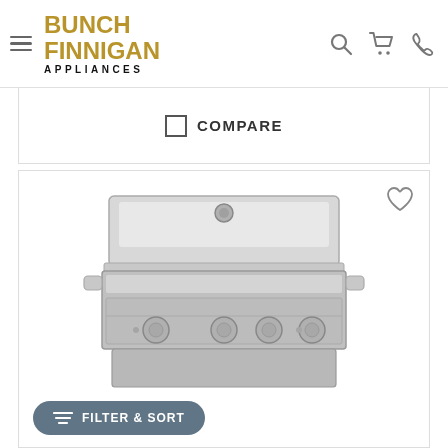Bunch Finnigan Appliances
COMPARE
[Figure (photo): Stainless steel built-in gas grill with four knobs and a lid, shown from a front-top angle on a white background.]
FILTER & SORT